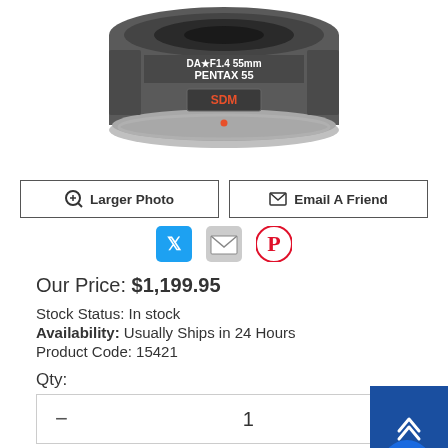[Figure (photo): Close-up photo of a Pentax 55 SDM camera lens, dark gray with silver ring, showing 'PENTAX 55' and 'SDM' text on the lens barrel]
Larger Photo
Email A Friend
[Figure (infographic): Social sharing icons: Twitter (blue bird), Email (envelope), Pinterest (red P)]
Our Price: $1,199.95
Stock Status: In stock
Availability: Usually Ships in 24 Hours
Product Code: 15421
Qty:
1
Add To Cart